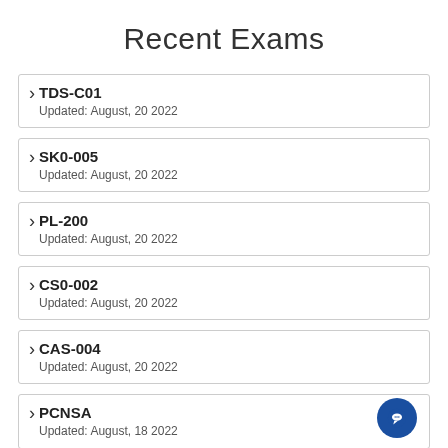Recent Exams
TDS-C01
Updated: August, 20 2022
SK0-005
Updated: August, 20 2022
PL-200
Updated: August, 20 2022
CS0-002
Updated: August, 20 2022
CAS-004
Updated: August, 20 2022
PCNSA
Updated: August, 18 2022